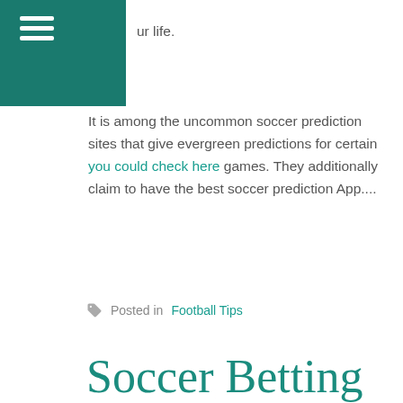ur life.
It is among the uncommon soccer prediction sites that give evergreen predictions for certain you could check here games. They additionally claim to have the best soccer prediction App....
Posted in Football Tips
Soccer Betting Odds
Mar 21, 2022